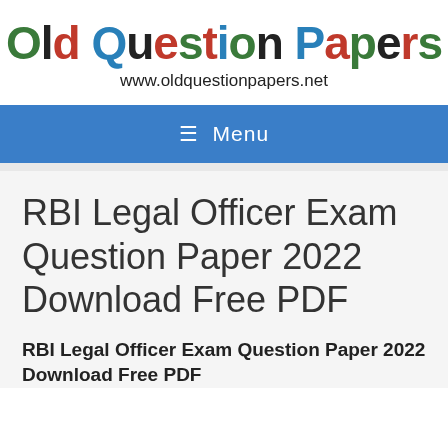[Figure (logo): Old Question Papers logo with multicolored letters and website URL www.oldquestionpapers.net]
≡ Menu
RBI Legal Officer Exam Question Paper 2022 Download Free PDF
RBI Legal Officer Exam Question Paper 2022 Download Free PDF